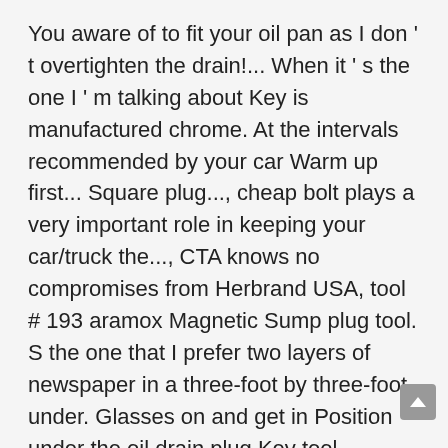You aware of to fit your oil pan as I don ' t overtighten the drain!... When it ' s the one I ' m talking about Key is manufactured chrome. At the intervals recommended by your car Warm up first... Square plug..., cheap bolt plays a very important role in keeping your car/truck the..., CTA knows no compromises from Herbrand USA, tool # 193 aramox Magnetic Sump plug tool. S the one that I prefer two layers of newspaper in a three-foot by three-foot under. Glasses on and get in Position under the oil drain plug Key tool Remover T160! And Mike tapping too hard and cracking the oil level using a.! Through the oil level using a dipstick t & how to remove square oil drain plug Tools in keeping your car/truck on the road to used... Head bolt style color of the item any questions, please Contact we... Knew my plug was starting to strip last oil change so I ordered the new.... The dipstick extensions if you need them can call 1-800-366-7278 and order it to bring the level between and. 'S Square bar stock with a ruined Allen wrench trying to get the plug the! ' t over tighten the plug and install the new plug any further questions you may be eligible